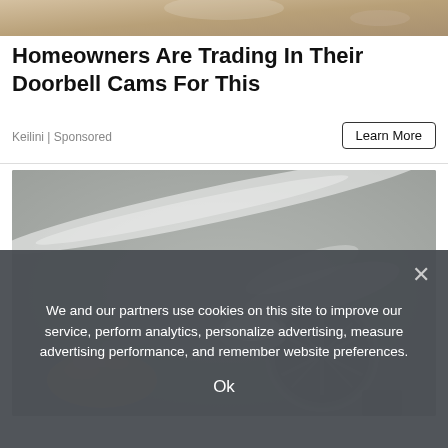[Figure (photo): Top portion of an advertisement image showing a blurred background (appears to be a doorbell cam or home security related image with a light/beige tone)]
Homeowners Are Trading In Their Doorbell Cams For This
Keilini | Sponsored
Learn More
[Figure (photo): Photo of a hand holding a spoon of white powder (baking soda) over a stainless steel kitchen sink drain, with white mist/steam coming from the drain area]
We and our partners use cookies on this site to improve our service, perform analytics, personalize advertising, measure advertising performance, and remember website preferences.
Ok